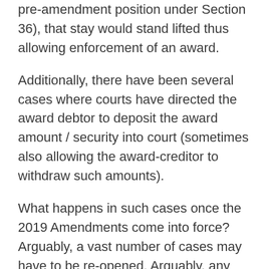pre-amendment position under Section 36), that stay would stand lifted thus allowing enforcement of an award.
Additionally, there have been several cases where courts have directed the award debtor to deposit the award amount / security into court (sometimes also allowing the award-creditor to withdraw such amounts).
What happens in such cases once the 2019 Amendments come into force? Arguably, a vast number of cases may have to be re-opened. Arguably, any amount / security deposited in court may have to be refunded. In cases where stays have been refused, an automatic stay will begin to apply if the arbitration was commenced prior to October 23, 2015.